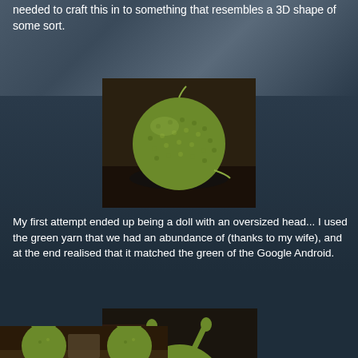needed to craft this in to something that resembles a 3D shape of some sort.
[Figure (photo): A green crocheted ball/sphere sitting on a dark brown table surface, with yarn tails visible.]
My first attempt ended up being a doll with an oversized head... I used the green yarn that we had an abundance of (thanks to my wife), and at the end realised that it matched the green of the Google Android.
[Figure (photo): A green crocheted figure with antenna ears resembling Android robot head, sitting on a dark brown table with a red lantern visible in background.]
[Figure (photo): Two green crocheted Android-style figures sitting on a table, viewed from behind, with various items in background.]